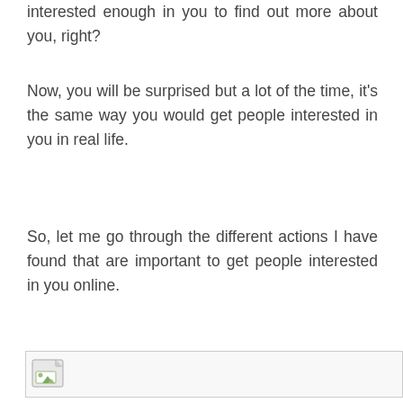interested enough in you to find out more about you, right?
Now, you will be surprised but a lot of the time, it's the same way you would get people interested in you in real life.
So, let me go through the different actions I have found that are important to get people interested in you online.
[Figure (illustration): A broken or placeholder image icon shown inside a bordered box, resembling an image that failed to load, with a small landscape thumbnail icon on the left.]